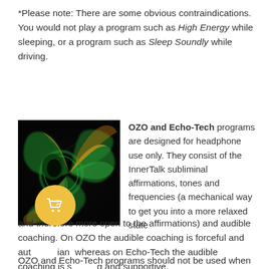*Please note: There are some obvious contraindications. You would not play a program such as High Energy while sleeping, or a program such as Sleep Soundly while driving.
[Figure (photo): A psychedelic fractal spiral image with green and orange/yellow swirling patterns on a dark background, resembling a peacock feather or cosmic swirl.]
OZO and Echo-Tech programs are designed for headphone use only. They consist of the InnerTalk subliminal affirmations, tones and frequencies (a mechanical way to get you into a more relaxed state and therefore more open to the affirmations) and audible coaching. On OZO the audible coaching is forceful and authoritarian whereas on Echo-Tech the audible coaching is soothing and supportive.
OZO and Echo-Tech programs should not be used when